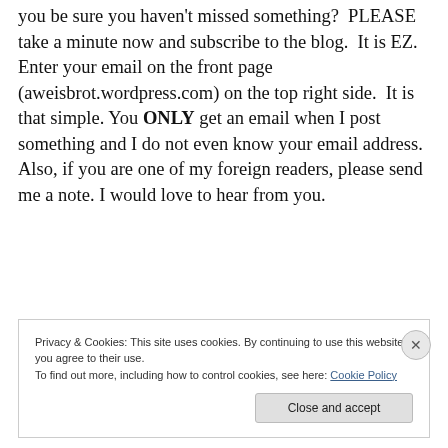you be sure you haven't missed something?  PLEASE take a minute now and subscribe to the blog.  It is EZ.  Enter your email on the front page (aweisbrot.wordpress.com) on the top right side.  It is that simple. You ONLY get an email when I post something and I do not even know your email address.  Also, if you are one of my foreign readers, please send me a note. I would love to hear from you.
Privacy & Cookies: This site uses cookies. By continuing to use this website, you agree to their use.
To find out more, including how to control cookies, see here: Cookie Policy